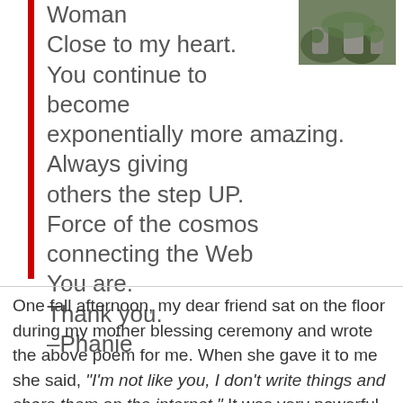Woman
Close to my heart.
You continue to become
exponentially more amazing.
Always giving
others the step UP.
Force of the cosmos
connecting the Web
You are.
Thank you.
–Phanie
[Figure (photo): Outdoor photo showing rocks and green vegetation, partially visible in top right corner]
One fall afternoon, my dear friend sat on the floor during my mother blessing ceremony and wrote the above poem for me. When she gave it to me she said, "I'm not like you, I don't write things and share them on the internet." It was very powerful to receive the gift of